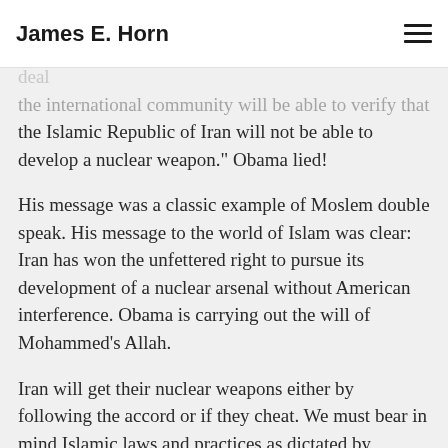James E. Horn
sycophant, John Chamberlain Kerry, had reached with Iran. Obama stated in part, "...because of this deal the international community will be able to verify that the Islamic Republic of Iran will not be able to develop a nuclear weapon." Obama lied!
His message was a classic example of Moslem double speak. His message to the world of Islam was clear: Iran has won the unfettered right to pursue its development of a nuclear arsenal without American interference. Obama is carrying out the will of Mohammed's Allah.
Iran will get their nuclear weapons either by following the accord or if they cheat. We must bear in mind Islamic laws and practices as dictated by Mohammed: Treaties with the enemy (western civilization) are valid for ten (10) years and can be abrogated at any time under any pretense of the other side (America in this